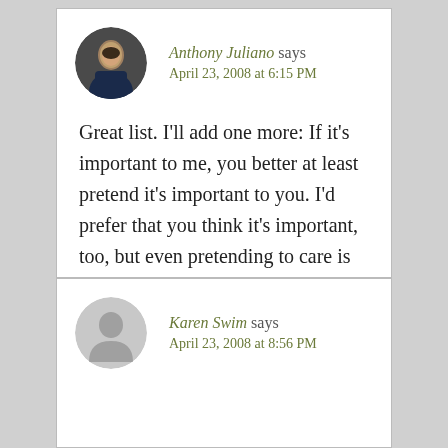Anthony Juliano says
April 23, 2008 at 6:15 PM
Great list. I'll add one more: If it's important to me, you better at least pretend it's important to you. I'd prefer that you think it's important, too, but even pretending to care is better than not caring.
Reply
Karen Swim says
April 23, 2008 at 8:56 PM